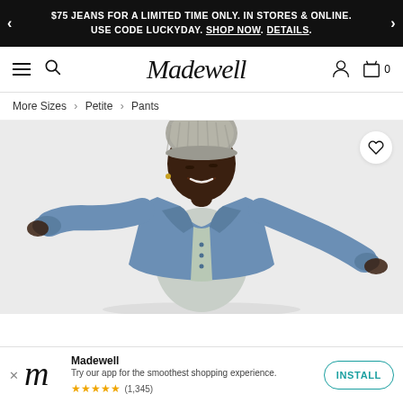$75 JEANS FOR A LIMITED TIME ONLY. IN STORES & ONLINE. USE CODE LUCKYDAY. SHOP NOW. DETAILS.
[Figure (screenshot): Madewell website navigation bar with hamburger menu, search icon, Madewell script logo, user account icon, and shopping bag with 0 items]
More Sizes > Petite > Pants
[Figure (photo): A smiling Black woman wearing a grey knit beanie hat, a light blue-grey t-shirt, and an open denim jacket, with arms spread wide against a light grey background. A heart/wishlist button appears in the top right corner.]
Madewell
Try our app for the smoothest shopping experience.
★★★★★ (1,345)
INSTALL